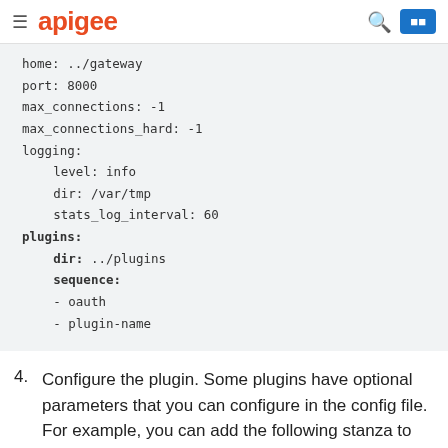apigee
home: ../gateway
port: 8000
max_connections: -1
max_connections_hard: -1
logging:
    level: info
    dir: /var/tmp
    stats_log_interval: 60
plugins:
    dir: ../plugins
    sequence:
    - oauth
    - plugin-name
4. Configure the plugin. Some plugins have optional parameters that you can configure in the config file. For example, you can add the following stanza to configure the spike arrest plugin. See Using the spike arrest plugin for more information.